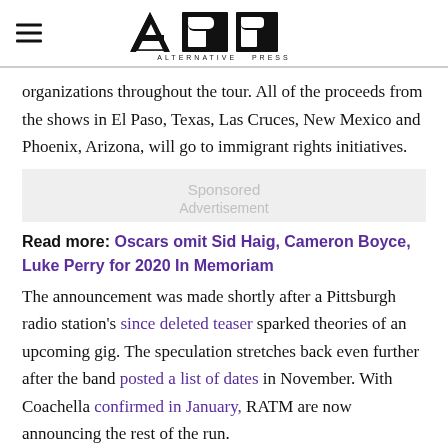Alternative Press logo with hamburger menu
organizations throughout the tour. All of the proceeds from the shows in El Paso, Texas, Las Cruces, New Mexico and Phoenix, Arizona, will go to immigrant rights initiatives.
[Figure (other): Sponsored Advertisement placeholder box]
Read more: Oscars omit Sid Haig, Cameron Boyce, Luke Perry for 2020 In Memoriam
The announcement was made shortly after a Pittsburgh radio station's since deleted teaser sparked theories of an upcoming gig. The speculation stretches back even further after the band posted a list of dates in November. With Coachella confirmed in January, RATM are now announcing the rest of the run.